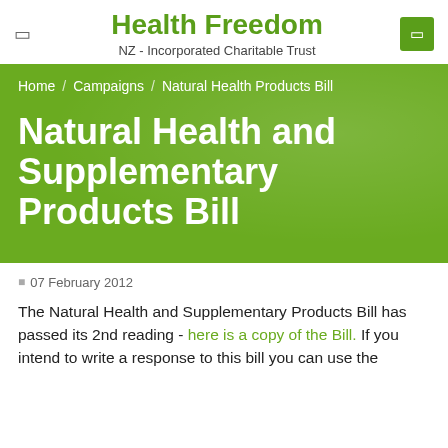Health Freedom
NZ - Incorporated Charitable Trust
Home / Campaigns / Natural Health Products Bill
Natural Health and Supplementary Products Bill
07 February 2012
The Natural Health and Supplementary Products Bill has passed its 2nd reading - here is a copy of the Bill. If you intend to write a response to this bill you can use the